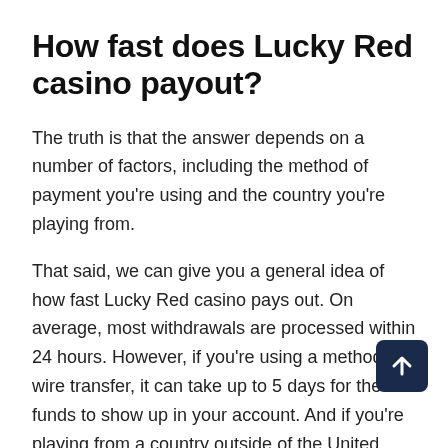How fast does Lucky Red casino payout?
The truth is that the answer depends on a number of factors, including the method of payment you're using and the country you're playing from.
That said, we can give you a general idea of how fast Lucky Red casino pays out. On average, most withdrawals are processed within 24 hours. However, if you're using a method like wire transfer, it can take up to 5 days for the funds to show up in your account. And if you're playing from a country outside of the United States, it can take even longer.
So, if you're wondering how fast Lucky Red casino pays